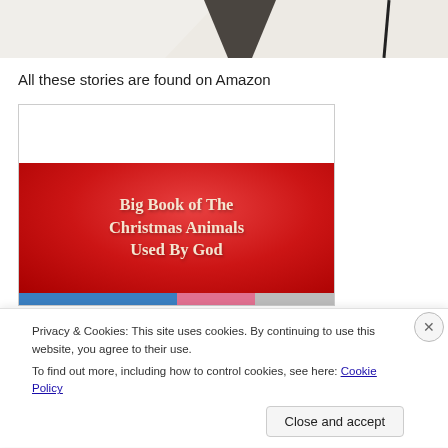[Figure (photo): Top portion of a photo showing white fabric/cloth draped over something, with a dark background, cropped at the bottom]
All these stories are found on Amazon
[Figure (photo): Book cover image: 'Big Book of The Christmas Animals Used By God' on a red background with white serif text, inside a white-bordered frame]
Privacy & Cookies: This site uses cookies. By continuing to use this website, you agree to their use.
To find out more, including how to control cookies, see here: Cookie Policy